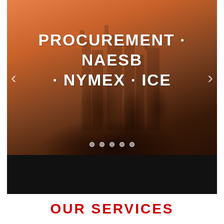[Figure (photo): Blurred industrial/refinery silhouette background with warm orange-to-dark gradient. Slide carousel with navigation arrows and 5 indicator dots. Bold white uppercase text reads: PROCUREMENT • NAESB • NYMEX • ICE]
PROCUREMENT • NAESB • NYMEX • ICE
OUR SERVICES